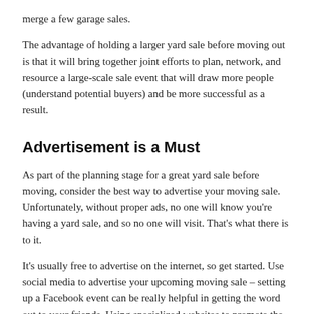merge a few garage sales.
The advantage of holding a larger yard sale before moving out is that it will bring together joint efforts to plan, network, and resource a large-scale sale event that will draw more people (understand potential buyers) and be more successful as a result.
Advertisement is a Must
As part of the planning stage for a great yard sale before moving, consider the best way to advertise your moving sale. Unfortunately, without proper ads, no one will know you're having a yard sale, and so no one will visit. That's what there is to it.
It's usually free to advertise on the internet, so get started. Use social media to advertise your upcoming moving sale – setting up a Facebook event can be really helpful in getting the word out to your friends. Using specialized websites to promote the case, such as Craigslist, Garage Sale Tracker, and Yard Sale Search.